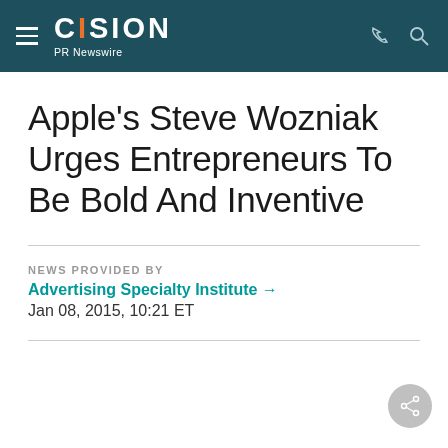CISION PR Newswire
Apple's Steve Wozniak Urges Entrepreneurs To Be Bold And Inventive
NEWS PROVIDED BY
Advertising Specialty Institute →
Jan 08, 2015, 10:21 ET